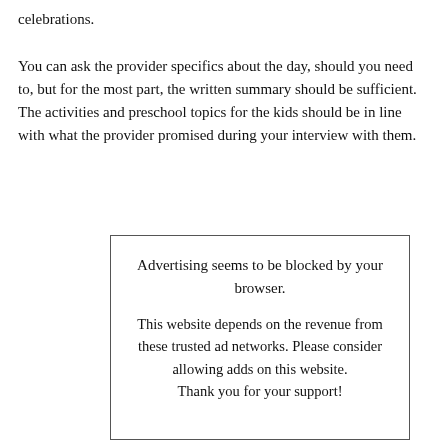celebrations.

You can ask the provider specifics about the day, should you need to, but for the most part, the written summary should be sufficient. The activities and preschool topics for the kids should be in line with what the provider promised during your interview with them.
Advertising seems to be blocked by your browser.

This website depends on the revenue from these trusted ad networks. Please consider allowing adds on this website. Thank you for your support!